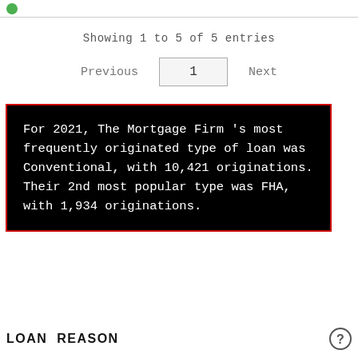Showing 1 to 5 of 5 entries
Previous  1  Next
For 2021, The Mortgage Firm 's most frequently originated type of loan was Conventional, with 10,421 originations. Their 2nd most popular type was FHA, with 1,934 originations.
LOAN REASON